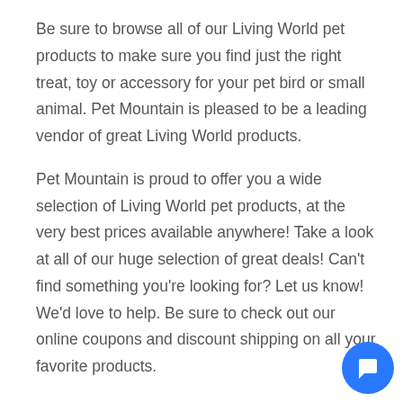Be sure to browse all of our Living World pet products to make sure you find just the right treat, toy or accessory for your pet bird or small animal. Pet Mountain is pleased to be a leading vendor of great Living World products.
Pet Mountain is proud to offer you a wide selection of Living World pet products, at the very best prices available anywhere! Take a look at all of our huge selection of great deals! Can't find something you're looking for? Let us know! We'd love to help. Be sure to check out our online coupons and discount shipping on all your favorite products.